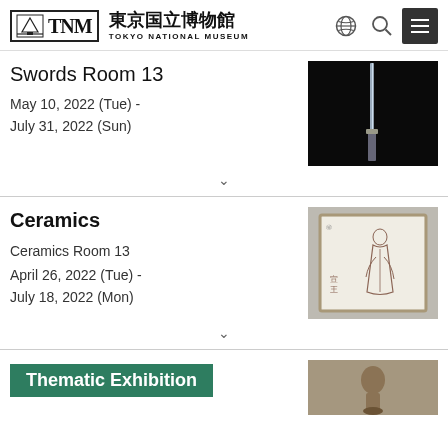東京国立博物館 TOKYO NATIONAL MUSEUM
Swords Room 13
May 10, 2022 (Tue) - July 31, 2022 (Sun)
[Figure (photo): A Japanese sword blade displayed vertically against a black background]
Ceramics
Ceramics Room 13
April 26, 2022 (Tue) - July 18, 2022 (Mon)
[Figure (photo): A ceramic tile or plate with a painted figure of a woman in traditional Japanese style, in a square frame]
Thematic Exhibition